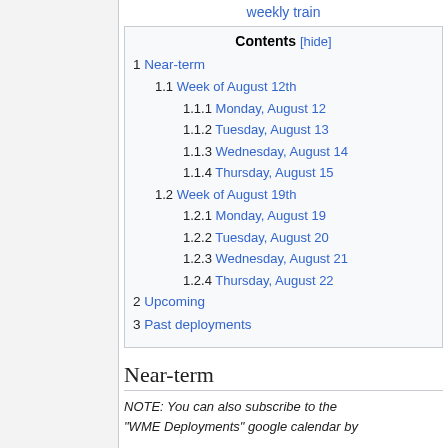weekly train
| Contents [hide] |
| --- |
| 1 Near-term |
| 1.1 Week of August 12th |
| 1.1.1 Monday, August 12 |
| 1.1.2 Tuesday, August 13 |
| 1.1.3 Wednesday, August 14 |
| 1.1.4 Thursday, August 15 |
| 1.2 Week of August 19th |
| 1.2.1 Monday, August 19 |
| 1.2.2 Tuesday, August 20 |
| 1.2.3 Wednesday, August 21 |
| 1.2.4 Thursday, August 22 |
| 2 Upcoming |
| 3 Past deployments |
Near-term
NOTE: You can also subscribe to the "WME Deployments" google calendar by